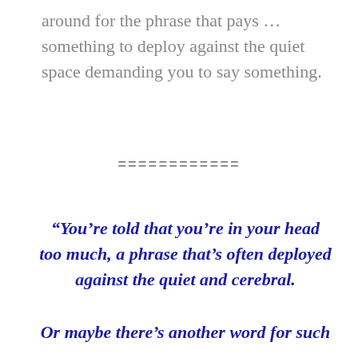around for the phrase that pays … something to deploy against the quiet space demanding you to say something.
============
“You’re told that you’re in your head too much, a phrase that’s often deployed against the quiet and cerebral.
Or maybe there’s another word for such